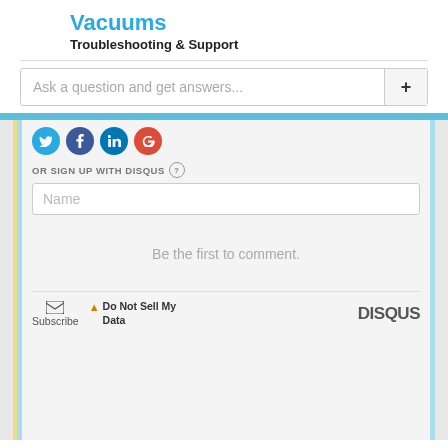Vacuums
Troubleshooting & Support
Ask a question and get answers...
[Figure (screenshot): Disqus comment section with social login icons (Twitter, Facebook, LinkedIn, Google), OR SIGN UP WITH DISQUS text with help icon, Name input field, 'Be the first to comment.' placeholder text, and footer with Subscribe, Do Not Sell My Data, and DISQUS logo]
Tips for a great answer: